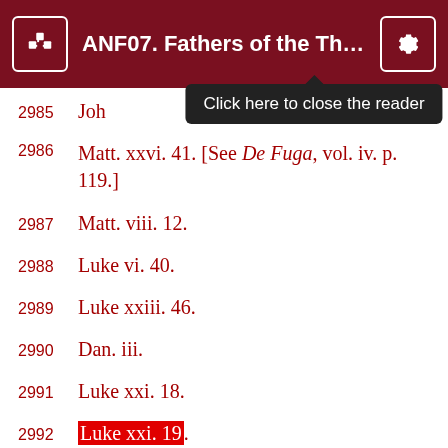ANF07. Fathers of the Third a...
2985  Joh[n...]
2986  Matt. xxvi. 41. [See De Fuga, vol. iv. p. 119.]
2987  Matt. viii. 12.
2988  Luke vi. 40.
2989  Luke xxiii. 46.
2990  Dan. iii.
2991  Luke xxi. 18.
2992  Luke xxi. 19.
2993  Dan. xii. 2, 3.
2994  Eccles. xii. 14.